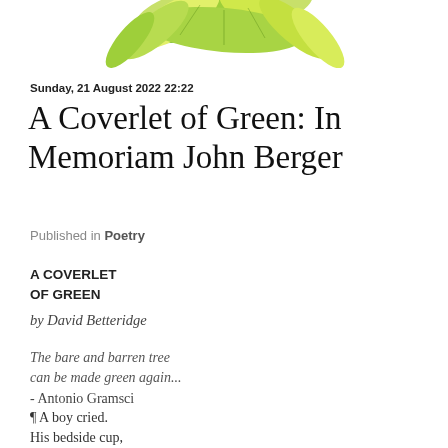[Figure (illustration): Decorative illustration of green and yellow leaves at the top of the page]
Sunday, 21 August 2022 22:22
A Coverlet of Green: In Memoriam John Berger
Published in Poetry
A COVERLET
OF GREEN
by David Betteridge
The bare and barren tree
can be made green again...
- Antonio Gramsci
¶ A boy cried.
His bedside cup,
brimful with milk,